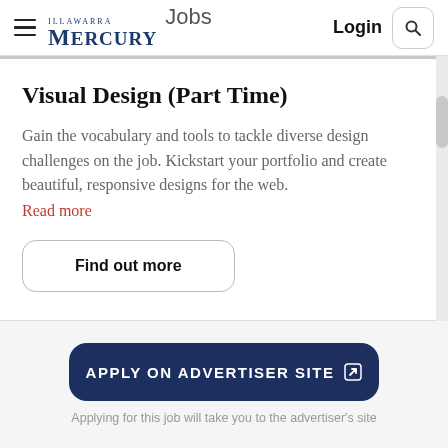Illawarra Mercury Jobs — Login
Visual Design (Part Time)
Gain the vocabulary and tools to tackle diverse design challenges on the job. Kickstart your portfolio and create beautiful, responsive designs for the web.
Read more
Find out more
APPLY ON ADVERTISER SITE
Applying for this job will take you to the advertiser's site